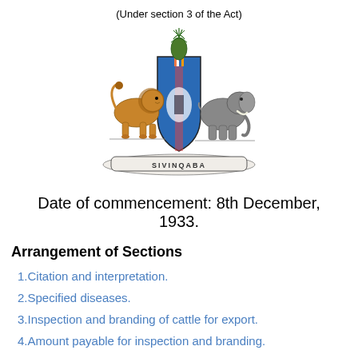(Under section 3 of the Act)
[Figure (illustration): Coat of arms with lion on left, shield in center (blue with pineapple crest), elephant on right, and banner reading SIVINQABA]
Date of commencement: 8th December, 1933.
Arrangement of Sections
1.Citation and interpretation.
2.Specified diseases.
3.Inspection and branding of cattle for export.
4.Amount payable for inspection and branding.